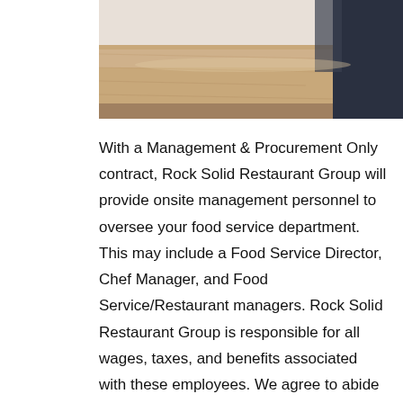[Figure (photo): A photograph showing a wooden table surface with what appears to be a person in dark clothing visible in the upper right corner. The image is cropped showing the top portion.]
With a Management & Procurement Only contract, Rock Solid Restaurant Group will provide onsite management personnel to oversee your food service department. This may include a Food Service Director, Chef Manager, and Food Service/Restaurant managers. Rock Solid Restaurant Group is responsible for all wages, taxes, and benefits associated with these employees. We agree to abide by your pre-employment requirements and policies such as background checks and physicals. These highly qualified personnel manage the day-to-day operations of your foodservice department and oversee hourly kitchen staff. Under this type of contract, the client remains responsible for hiring all